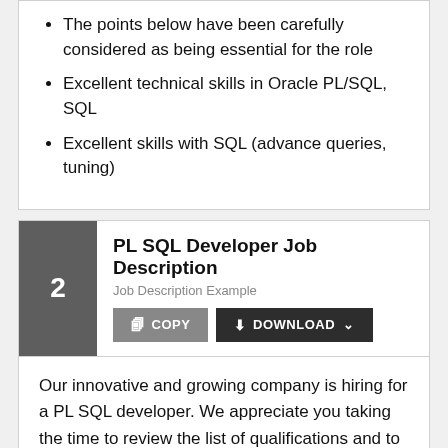The points below have been carefully considered as being essential for the role
Excellent technical skills in Oracle PL/SQL, SQL
Excellent skills with SQL (advance queries, tuning)
PL SQL Developer Job Description
Job Description Example
Our innovative and growing company is hiring for a PL SQL developer. We appreciate you taking the time to review the list of qualifications and to apply for the position. If you don't fill all of the qualifications, you may still be considered